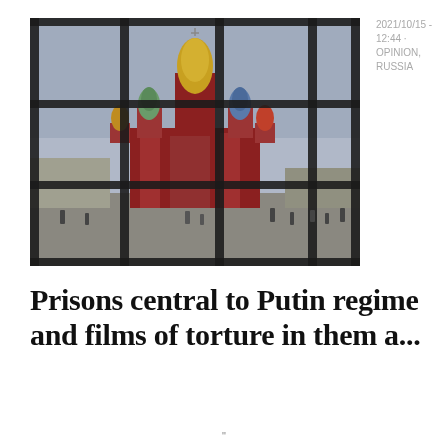[Figure (photo): View of Saint Basil's Cathedral in Moscow's Red Square, photographed through a metal grid/bars in the foreground. Overcast sky, people walking in the square below.]
2021/10/15 - 12:44 • OPINION, RUSSIA
Prisons central to Putin regime and films of torture in them a...
"